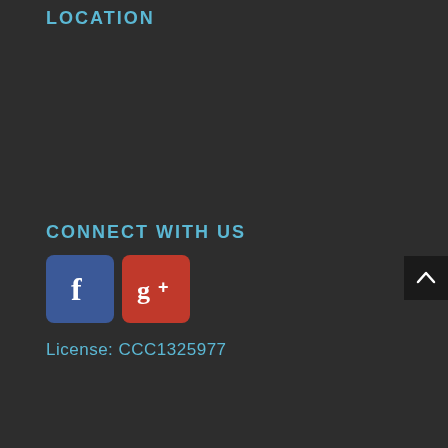LOCATION
CONNECT WITH US
[Figure (logo): Facebook icon (blue rounded square with white 'f' letter) and Google Plus icon (red rounded square with white 'g+' text) social media buttons]
License: CCC1325977